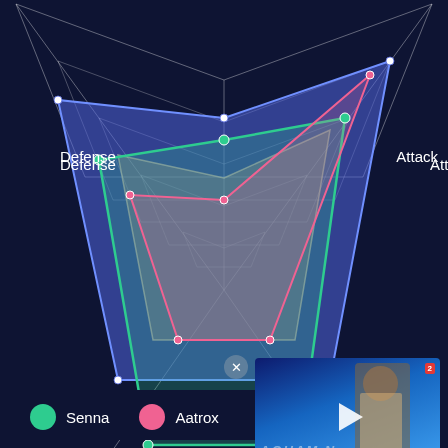[Figure (radar-chart): Radar/spider chart comparing Senna (green) and Aatrox (pink) across Defense, Attack, Utility & CC, and Magic axes on a dark navy background]
Defense
Attack
Utility & CC
Magic
Senna
Aatrox
[Figure (screenshot): Video thumbnail of Aquaman movie with play button and red banner reading 'AQUAMAN AND THE LOST KINGDOM HAS BEEN PUSHED BACK']
Is Senna Better When Played Alongside Aatrox?